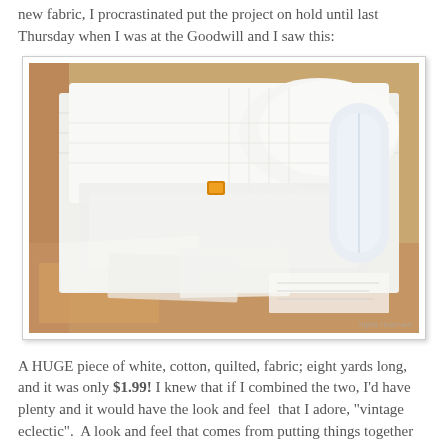new fabric, I procrastinated put the project on hold until last Thursday when I was at the Goodwill and I saw this:
[Figure (photo): A large pile of white, quilted cotton fabric folded and stacked on a surface with a colorful background visible at edges. A small orange price tag is visible on the fabric.]
A HUGE piece of white, cotton, quilted, fabric; eight yards long, and it was only $1.99! I knew that if I combined the two, I'd have plenty and it would have the look and feel that I adore, "vintage eclectic". A look and feel that comes from putting things together over time.
[Figure (photo): A closer view of the same white quilted fabric, partially cropped at the bottom of the page, with the same colorful background visible.]